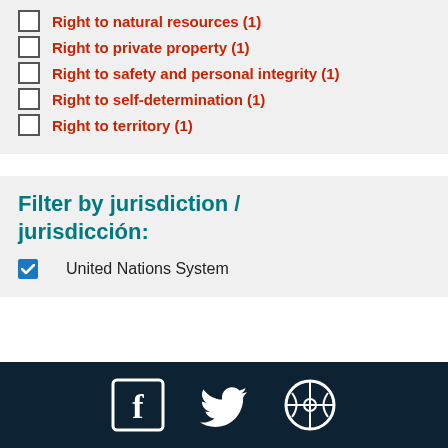Right to natural resources (1)
Right to private property (1)
Right to safety and personal integrity (1)
Right to self-determination (1)
Right to territory (1)
Filter by jurisdiction / jurisdicción:
United Nations System
Social media icons: Facebook, Twitter, WordPress